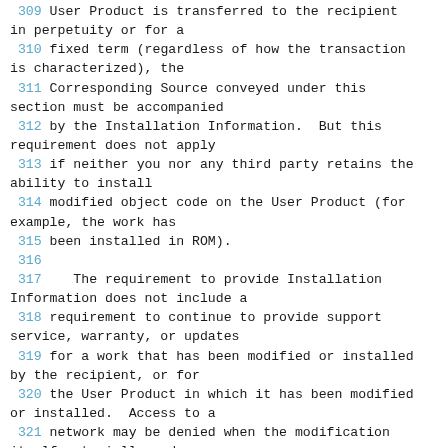309 User Product is transferred to the recipient in perpetuity or for a
310 fixed term (regardless of how the transaction is characterized), the
311 Corresponding Source conveyed under this section must be accompanied
312 by the Installation Information.  But this requirement does not apply
313 if neither you nor any third party retains the ability to install
314 modified object code on the User Product (for example, the work has
315 been installed in ROM).
316
317    The requirement to provide Installation Information does not include a
318 requirement to continue to provide support service, warranty, or updates
319 for a work that has been modified or installed by the recipient, or for
320 the User Product in which it has been modified or installed.  Access to a
321 network may be denied when the modification itself materially and
322 adversely affects the operation of the network